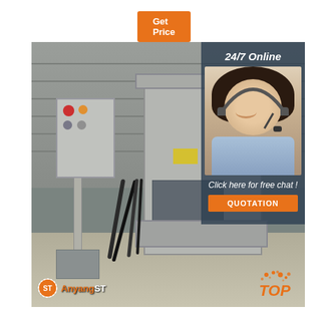Get Price
[Figure (photo): Industrial hydraulic press machine in a factory/warehouse setting. A grey control panel box is on the left, connected to a large grey C-frame or H-frame press machine in the center. Cables run along the floor. The floor is concrete and a metal roller shutter is visible in the background.]
[Figure (photo): Customer service agent: a young woman with dark hair wearing a headset/microphone, smiling, wearing a light blue shirt. Overlaid on a dark blue-grey panel on the right side of the image.]
24/7 Online
Click here for free chat !
QUOTATION
[Figure (logo): AnyangST logo: gear/cog icon with 'ST' letters and 'AnyangST' text in white on the lower left of the main photo]
TOP